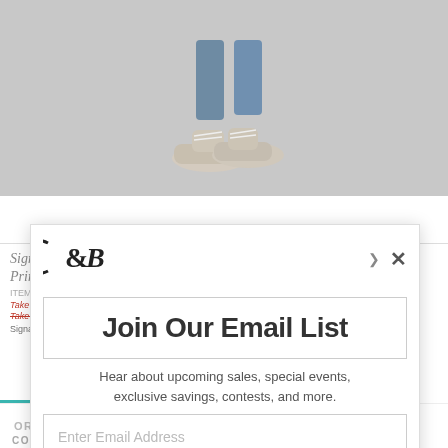[Figure (photo): Screenshot of a retail website product page (shoes) with an email signup modal overlay. Background shows a product image of beige sneakers/lace-up shoes on a gray background and partial product title 'Signature Slimming Relaxed Fit Printed Ankle Jean'. Foreground shows a white modal popup with C&B logo, close button (X), title 'Join Our Email List', descriptive text, email input field, sign up button, and privacy policy link.]
SWIPE TO SEE MORE
Join Our Email List
Hear about upcoming sales, special events, exclusive savings, contests, and more.
Enter Email Address
SIGN UP FOR EMAILS
Privacy Policy
ORDER ONLINE
COLOR: 00786 ANKLE FLORAL